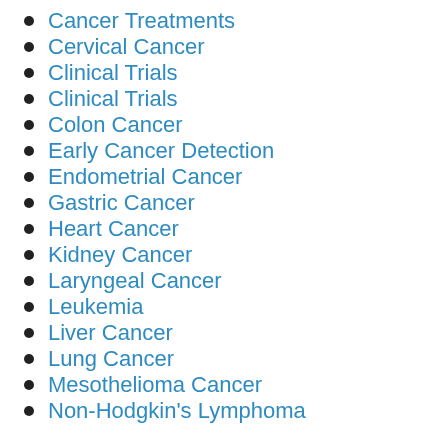Cancer Treatments
Cervical Cancer
Clinical Trials
Clinical Trials
Colon Cancer
Early Cancer Detection
Endometrial Cancer
Gastric Cancer
Heart Cancer
Kidney Cancer
Laryngeal Cancer
Leukemia
Liver Cancer
Lung Cancer
Mesothelioma Cancer
Non-Hodgkin's Lymphoma